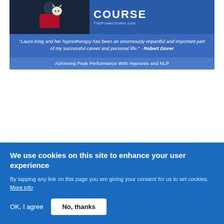[Figure (advertisement): Advertisement banner for 'The Power to Win Course' at ThePowerToWin.com with a person holding a white cat, featuring a testimonial from Robert Dover about Laura King's hypnotherapy, and subtitle 'Achieving Peak Performance With Hypnosis and NLP']
We use cookies on this site to enhance your user experience
By tapping any link on this page you are giving your consent for us to set cookies. More info
OK, I agree
No, thanks